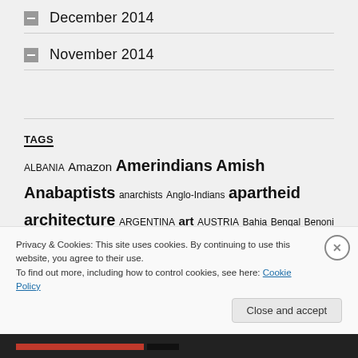December 2014
November 2014
TAGS
ALBANIA Amazon Amerindians Amish Anabaptists anarchists Anglo-Indians apartheid architecture ARGENTINA art AUSTRIA Bahia Bengal Benoni Bluefields Boer War books Braamfontein Cemetery BRAZIL Brazil (IN) bushveld Caetano Veloso Calcutta CANADA Caribbean CAYMAN ISLANDS cemeteries
Privacy & Cookies: This site uses cookies. By continuing to use this website, you agree to their use. To find out more, including how to control cookies, see here: Cookie Policy
Close and accept